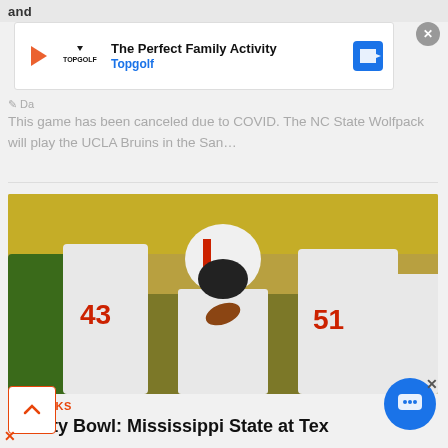and
[Figure (screenshot): Advertisement banner for Topgolf: 'The Perfect Family Activity' with Topgolf branding, play button icon, and navigation arrow icon. Close button (X) on the right.]
This game has been canceled due to COVID. The NC State Wolfpack will play the UCLA Bruins in the San…
[Figure (photo): Football players in action: Texas Tech Red Raiders (white uniforms with red numbers 43 and 51) blocking against a Baylor Bears player (green uniform) during a college football game.]
CFB PICKS
Liberty Bowl: Mississippi State at Tex